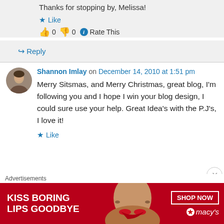Thanks for stopping by, Melissa!
Like
0  0  Rate This
Reply
Shannon Imlay on December 14, 2010 at 1:51 pm
Merry Sitsmas, and Merry Christmas, great blog, I'm following you and I hope I win your blog design, I could sure use your help. Great Idea's with the P.J's, I love it!
Like
Advertisements
[Figure (photo): Macy's advertisement banner: 'KISS BORING LIPS GOODBYE' with photo of woman and red lips, SHOP NOW button and Macy's star logo]